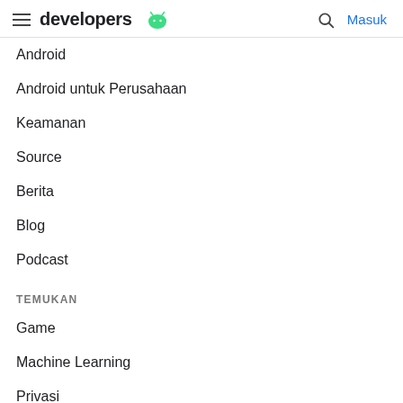developers | Masuk
Android
Android untuk Perusahaan
Keamanan
Source
Berita
Blog
Podcast
TEMUKAN
Game
Machine Learning
Privasi
5G